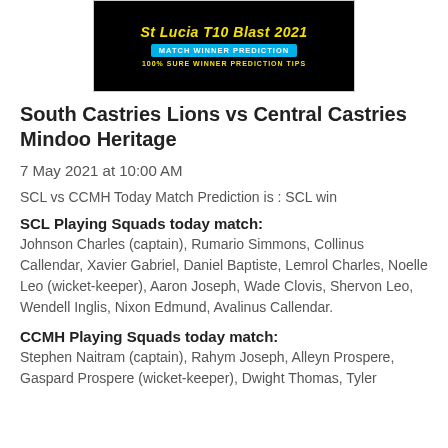[Figure (infographic): St Lucia T10 Blast 2021 Match Winner Prediction banner with yellow and black colors, 100% Sure Winner Prediction Tips text]
South Castries Lions vs Central Castries Mindoo Heritage
7 May 2021 at 10:00 AM
SCL vs CCMH Today Match Prediction is : SCL win
SCL Playing Squads today match:
Johnson Charles (captain), Rumario Simmons, Collinus Callendar, Xavier Gabriel, Daniel Baptiste, Lemrol Charles, Noelle Leo (wicket-keeper), Aaron Joseph, Wade Clovis, Shervon Leo, Wendell Inglis, Nixon Edmund, Avalinus Callendar.
CCMH Playing Squads today match:
Stephen Naitram (captain), Rahym Joseph, Alleyn Prospere, Gaspard Prospere (wicket-keeper), Dwight Thomas, Tyler